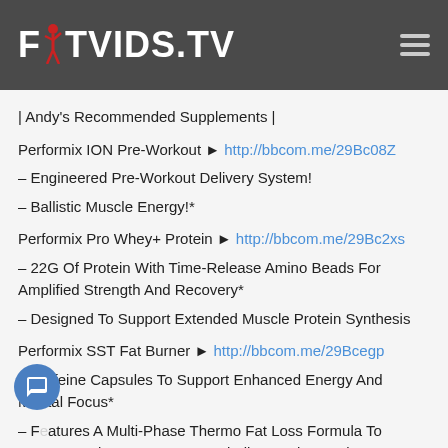FITVIDS.TV
| Andy's Recommended Supplements |
Performix ION Pre-Workout ► http://bbcom.me/29Bc08Z
– Engineered Pre-Workout Delivery System!
– Ballistic Muscle Energy!*
Performix Pro Whey+ Protein ► http://bbcom.me/29Bc2xs
– 22G Of Protein With Time-Release Amino Beads For Amplified Strength And Recovery*
– Designed To Support Extended Muscle Protein Synthesis
Performix SST Fat Burner ► http://bbcom.me/29Bcegp
– Caffeine Capsules To Support Enhanced Energy And Mental Focus*
– Features A Multi-Phase Thermo Fat Loss Formula To Support Body Energy, Fat Metabolism And Mental Focus*